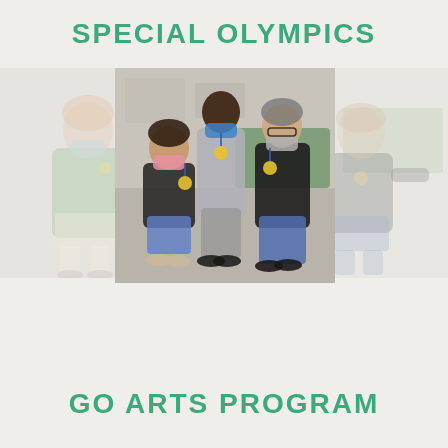SPECIAL OLYMPICS
[Figure (photo): Three photos of Special Olympics participants wearing medals and masks. Left: faded photo of a young woman in a green shirt holding a medal. Center: clear photo of three participants posing together indoors, wearing medals and masks. Right: faded photo of a person wearing a medal walking in a recreation room.]
GO ARTS PROGRAM